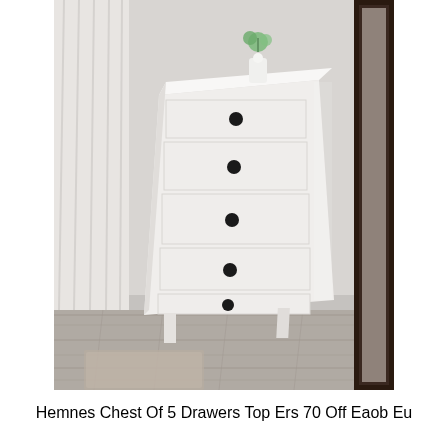[Figure (photo): A tall white IKEA Hemnes chest of 5 drawers with black round knobs, placed against a light grey wall. On top sits a white ceramic jug with a small green plant. To the right is a large dark-framed mirror. The floor appears to be grey wood-effect laminate with a partial view of a rug.]
Hemnes Chest Of 5 Drawers Top Ers 70 Off Eaob Eu